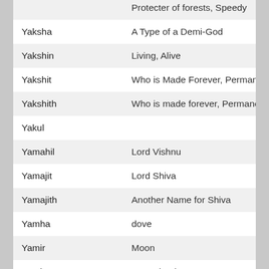| Name | Meaning |
| --- | --- |
|  | Protecter of forests, Speedy |
| Yaksha | A Type of a Demi-God |
| Yakshin | Living, Alive |
| Yakshit | Who is Made Forever, Permanent |
| Yakshith | Who is made forever, Permanent |
| Yakul |  |
| Yamahil | Lord Vishnu |
| Yamajit | Lord Shiva |
| Yamajith | Another Name for Shiva |
| Yamha | dove |
| Yamir | Moon |
| Yamit | Restrained |